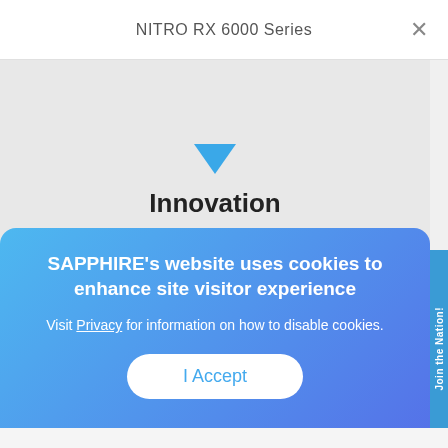NITRO RX 6000 Series
[Figure (screenshot): Map area showing a blue downward-pointing triangle marker above the bold text 'Innovation' on a light grey background]
SAPPHIRE's website uses cookies to enhance site visitor experience

Visit Privacy for information on how to disable cookies.

I Accept